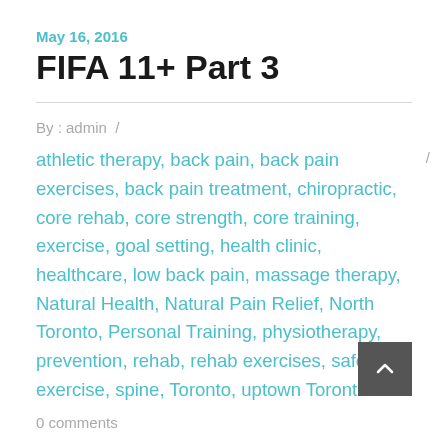May 16, 2016
FIFA 11+ Part 3
By : admin /
athletic therapy, back pain, back pain exercises, back pain treatment, chiropractic, core rehab, core strength, core training, exercise, goal setting, health clinic, healthcare, low back pain, massage therapy, Natural Health, Natural Pain Relief, North Toronto, Personal Training, physiotherapy, prevention, rehab, rehab exercises, safe exercise, spine, Toronto, uptown Toronto
0 comments
Today we will discuss Part 3 of the FIFA 11+ Warm-Up